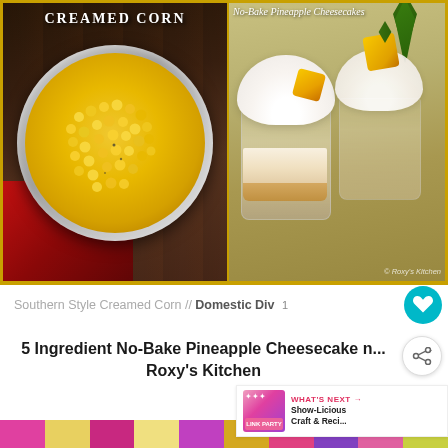[Figure (photo): Food blog collage: left side shows creamed corn in a glass bowl on a dark background with red cloth; right side shows No-Bake Pineapple Cheesecakes in small glasses with whipped cream and pineapple garnish. Text 'CREAMED CORN' on left image, 'No-Bake Pineapple Cheesecakes' on right image, '© Roxy's Kitchen' watermark.]
Southern Style Creamed Corn // Domestic Div  1
5 Ingredient No-Bake Pineapple Cheesecake n... // Roxy's Kitchen
[Figure (infographic): What's Next panel: Show-Licious Craft & Reci... with pink arrow and decorative image]
[Figure (infographic): Color palette swatches row at bottom: pink, yellow, dark pink, light yellow, purple-pink, mustard, pink, purple, pink, yellow-green]